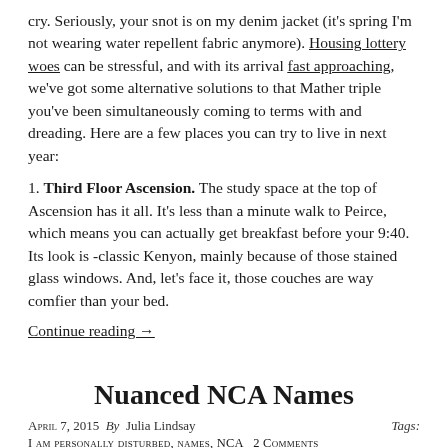cry. Seriously, your snot is on my denim jacket (it's spring I'm not wearing water repellent fabric anymore). Housing lottery woes can be stressful, and with its arrival fast approaching, we've got some alternative solutions to that Mather triple you've been simultaneously coming to terms with and dreading. Here are a few places you can try to live in next year:
1. Third Floor Ascension. The study space at the top of Ascension has it all. It's less than a minute walk to Peirce, which means you can actually get breakfast before your 9:40. Its look is -classic Kenyon, mainly because of those stained glass windows. And, let's face it, those couches are way comfier than your bed.
Continue reading →
Nuanced NCA Names
April 7, 2015  By  Julia Lindsay    Tags:
I am personally disturbed, names, NCA  2 Comments